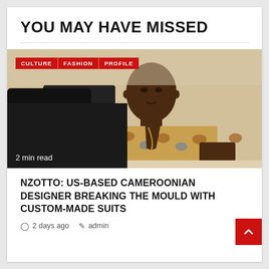YOU MAY HAVE MISSED
[Figure (photo): A man wearing a floral patterned shirt and gold jewelry, seated at a desk, looking at the camera. Red tags at top left read CULTURE, FASHION, PROFILE. Bottom left text reads '2 min read'.]
NZOTTO: US-BASED CAMEROONIAN DESIGNER BREAKING THE MOULD WITH CUSTOM-MADE SUITS
2 days ago  admin